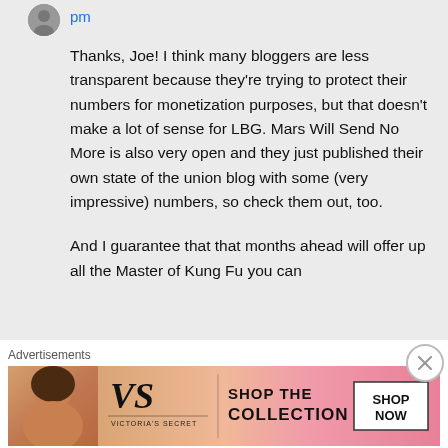pm
Thanks, Joe! I think many bloggers are less transparent because they're trying to protect their numbers for monetization purposes, but that doesn't make a lot of sense for LBG. Mars Will Send No More is also very open and they just published their own state of the union blog with some (very impressive) numbers, so check them out, too.
And I guarantee that that months ahead will offer up all the Master of Kung Fu you can
Advertisements
[Figure (photo): Victoria's Secret advertisement banner showing a model, the VS logo with VICTORIA'S SECRET text, SHOP THE COLLECTION text, and a SHOP NOW button on white background, pink gradient background]